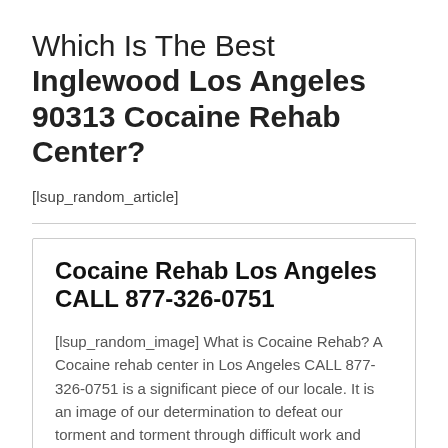Which Is The Best Inglewood Los Angeles 90313 Cocaine Rehab Center?
[lsup_random_article]
Cocaine Rehab Los Angeles CALL 877-326-0751
[lsup_random_image] What is Cocaine Rehab? A Cocaine rehab center in Los Angeles CALL 877-326-0751 is a significant piece of our locale. It is an image of our determination to defeat our torment and torment through difficult work and diligence. This torment and torment is regularly a consequence of drug abuse, which frequently drives us into... Continue reading